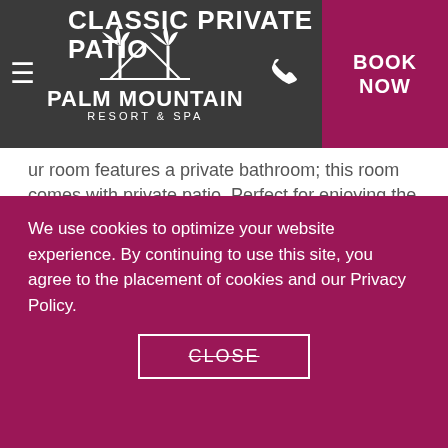CLASSIC PRIVATE PATIO — Palm Mountain Resort & Spa — BOOK NOW
ur room features a private bathroom; this room comes with private patio. Perfect for enjoying the outdoors or hanging out after a busy day.
Amenities/Features
260 square feet
40” flat-screen television with 70 channels including HBO
One king or two double beds with pillowtop mattress
We use cookies to optimize your website experience. By continuing to use this site, you agree to the placement of cookies and our Privacy Policy.
CLOSE